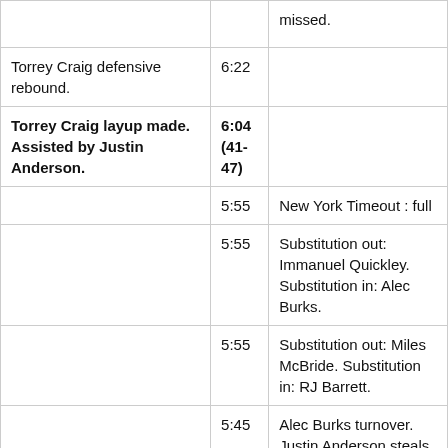| Play | Time | Event |
| --- | --- | --- |
|  |  | missed. |
| Torrey Craig defensive rebound. | 6:22 |  |
| Torrey Craig layup made. Assisted by Justin Anderson. | 6:04 (41-47) |  |
|  | 5:55 | New York Timeout : full |
|  | 5:55 | Substitution out: Immanuel Quickley. Substitution in: Alec Burks. |
|  | 5:55 | Substitution out: Miles McBride. Substitution in: RJ Barrett. |
|  | 5:45 | Alec Burks turnover. Justin Anderson steals. |
|  | 5:42 |  |